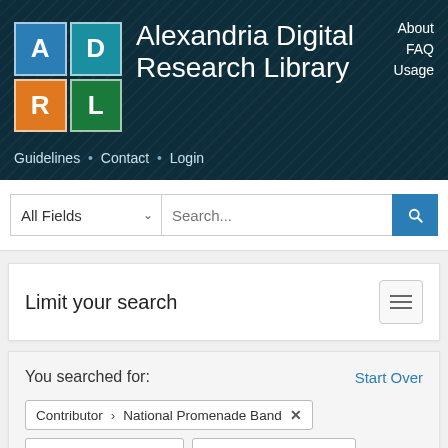[Figure (logo): Alexandria Digital Research Library (ADRL) logo with colored grid squares showing letters A, D, R, L and navigation links]
Alexandria Digital Research Library · About · FAQ · Usage · Guidelines · Contact · Login
All Fields
Search...
Limit your search
You searched for:
Start Over
Contributor › National Promenade Band ✕
Topic › 1911-1920 ✕
Topic › Band music ✕